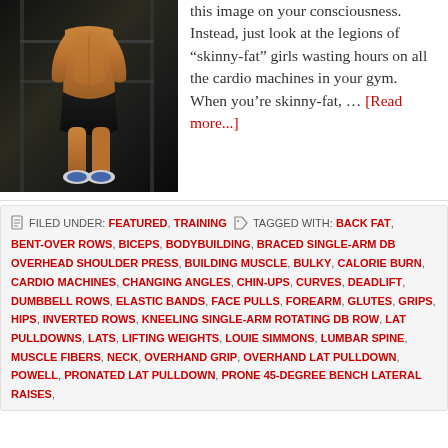[Figure (photo): Fitness photo of a woman in athletic wear in a gym setting, viewed from behind showing muscular back and legs]
this image on your consciousness. Instead, just look at the legions of “skinny-fat” girls wasting hours on all the cardio machines in your gym. When you’re skinny-fat, … [Read more...]
FILED UNDER: FEATURED, TRAINING   TAGGED WITH: BACK FAT, BENT-OVER ROWS, BICEPS, BODYBUILDING, BRACED SINGLE-ARM DB OVERHEAD SHOULDER PRESS, BUILDING MUSCLE, BULKY, CALORIE BURN, CARDIO MACHINES, CHANGING ANGLES, CHIN-UPS, CURVES, DEADLIFT, DUMBBELL ROWS, ELASTIC BANDS, FACE PULLS, FOREARM, GLUTES, GRIPS, HIPS, INVERTED ROWS, KNEELING SINGLE-ARM ROTATING DB ROW, LAT PULLDOWNS, LATS, LIFTING WEIGHTS, LOUIE SIMMONS, LUMBAR SPINE, MUSCLE FIBERS, NECK, OVERHAND GRIP, OVERHAND LAT PULLDOWN, POWELL, PRONATED LAT PULLDOWN, PRONE 45-DEGREE BENCH LATERAL RAISES,